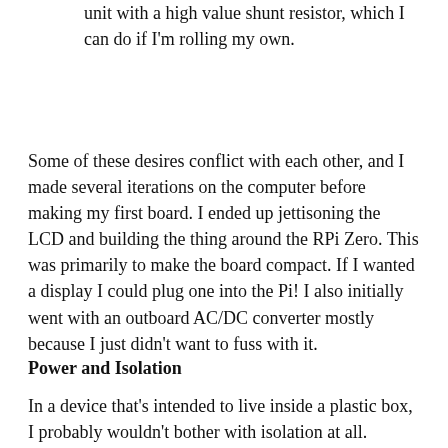unit with a high value shunt resistor, which I can do if I'm rolling my own.
Some of these desires conflict with each other, and I made several iterations on the computer before making my first board. I ended up jettisoning the LCD and building the thing around the RPi Zero. This was primarily to make the board compact. If I wanted a display I could plug one into the Pi! I also initially went with an outboard AC/DC converter mostly because I just didn't want to fuss with it.
Power and Isolation
In a device that's intended to live inside a plastic box, I probably wouldn't bother with isolation at all.